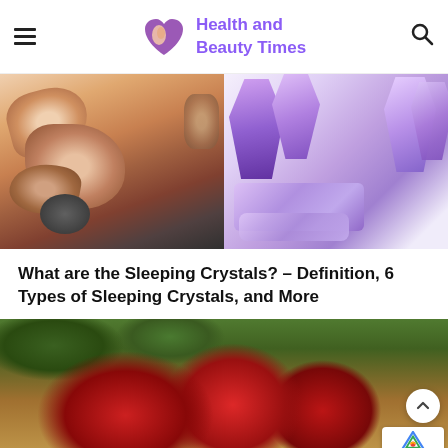Health and Beauty Times
[Figure (photo): Split photo: left side shows hands holding crystal/gemstone jewelry; right side shows purple amethyst crystals and gemstones on white surface]
What are the Sleeping Crystals? – Definition, 6 Types of Sleeping Crystals, and More
[Figure (photo): Photo of red apples in a wicker basket with green leaves and a small glass bottle with cork stopper, on a wooden surface]